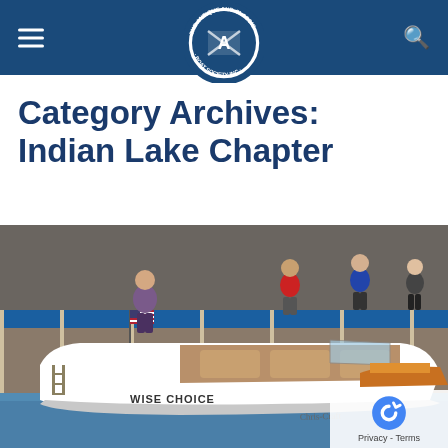The Antique and Classic Boat Society, Inc. — navigation header with hamburger menu and search icon
Category Archives: Indian Lake Chapter
[Figure (photo): Outdoor boat show scene at a marina dock. A white classic motorboat labeled 'WISE CHOICE' is moored at a dock. The boat has tan/caramel interior seats and a small American flag at the bow. In the background, people walk along a blue-railed dock, with another classic wooden boat visible to the right. Sunny day.]